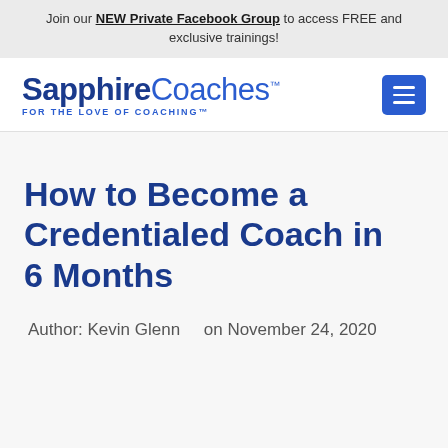Join our NEW Private Facebook Group to access FREE and exclusive trainings!
[Figure (logo): SapphireCoaches logo with tagline FOR THE LOVE OF COACHING™ and a blue hamburger menu button]
How to Become a Credentialed Coach in 6 Months
Author: Kevin Glenn   on November 24, 2020